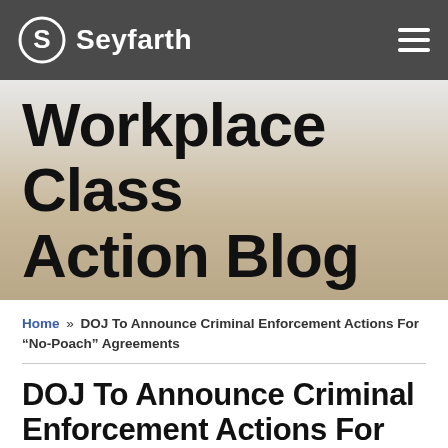[Figure (logo): Seyfarth logo with stylized S icon and wordmark on dark gray navigation bar with hamburger menu icon on the right]
Workplace Class Action Blog
Home » DOJ To Announce Criminal Enforcement Actions For “No-Poach” Agreements
DOJ To Announce Criminal Enforcement Actions For “No-Poach” Agreements